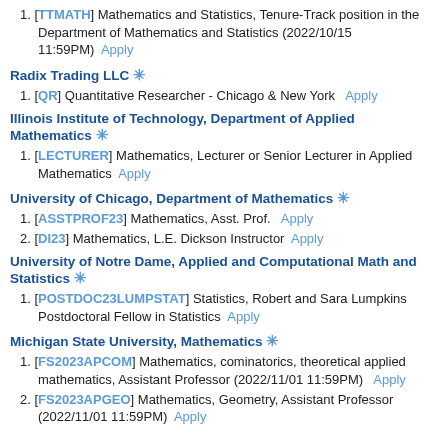[TTMATH] Mathematics and Statistics, Tenure-Track position in the Department of Mathematics and Statistics (2022/10/15 11:59PM)  Apply
Radix Trading LLC ✳
[QR] Quantitative Researcher - Chicago & New York   Apply
Illinois Institute of Technology, Department of Applied Mathematics ✳
[LECTURER] Mathematics, Lecturer or Senior Lecturer in Applied Mathematics   Apply
University of Chicago, Department of Mathematics ✳
[ASSTPROF23] Mathematics, Asst. Prof.   Apply
[DI23] Mathematics, L.E. Dickson Instructor   Apply
University of Notre Dame, Applied and Computational Math and Statistics ✳
[POSTDOC23LUMPSTAT] Statistics, Robert and Sara Lumpkins Postdoctoral Fellow in Statistics   Apply
Michigan State University, Mathematics ✳
[FS2023APCOM] Mathematics, cominatorics, theoretical applied mathematics, Assistant Professor (2022/11/01 11:59PM)   Apply
[FS2023APGEO] Mathematics, Geometry, Assistant Professor (2022/11/01 11:59PM)   Apply